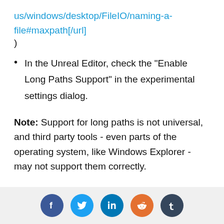us/windows/desktop/FileIO/naming-a-file#maxpath[/url])
In the Unreal Editor, check the "Enable Long Paths Support" in the experimental settings dialog.
Note: Support for long paths is not universal, and third party tools - even parts of the operating system, like Windows Explorer - may not support them correctly.
New: Blueprint Indexing Optimizations
[Figure (other): Social media share icons: Facebook, Twitter, LinkedIn, Reddit, Tumblr]